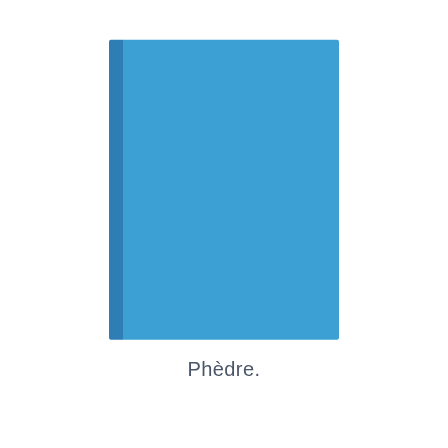[Figure (illustration): A blue hardcover book shown from the front, with a darker blue spine on the left side and a lighter blue main cover body.]
Phèdre.